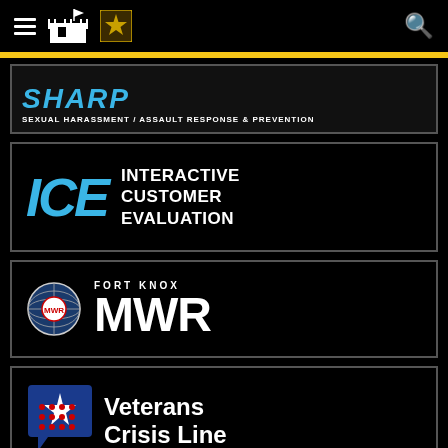Navigation bar with hamburger menu, Fort Knox / U.S. Army icons, and search icon
[Figure (logo): SHARP - Sexual Harassment/Assault Response & Prevention logo, partially cropped at top]
[Figure (logo): ICE - Interactive Customer Evaluation logo with blue ICE letters and white text]
[Figure (logo): Fort Knox MWR logo with globe icon and large MWR text]
[Figure (logo): Veterans Crisis Line logo with blue speech bubble star icon and red dot grid]
[Figure (logo): iSALUTE - Report Suspicious Activity logo with large white text]